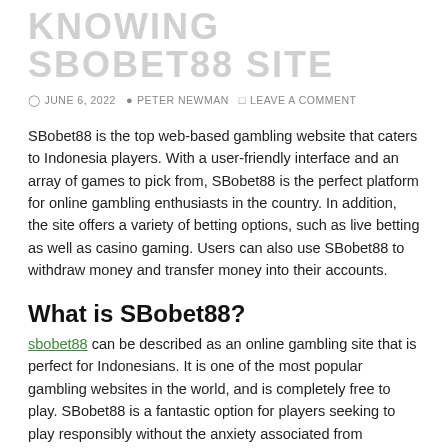KNOWING SBOBET88 SITE
JUNE 6, 2022  PETER NEWMAN  LEAVE A COMMENT
SBobet88 is the top web-based gambling website that caters to Indonesia players. With a user-friendly interface and an array of games to pick from, SBobet88 is the perfect platform for online gambling enthusiasts in the country. In addition, the site offers a variety of betting options, such as live betting as well as casino gaming. Users can also use SBobet88 to withdraw money and transfer money into their accounts.
What is SBobet88?
sbobet88 can be described as an online gambling site that is perfect for Indonesians. It is one of the most popular gambling websites in the world, and is completely free to play. SBobet88 is a fantastic option for players seeking to play responsibly without the anxiety associated from traditional gambling. Additionally, SBobet88 is one of the most user-friendly